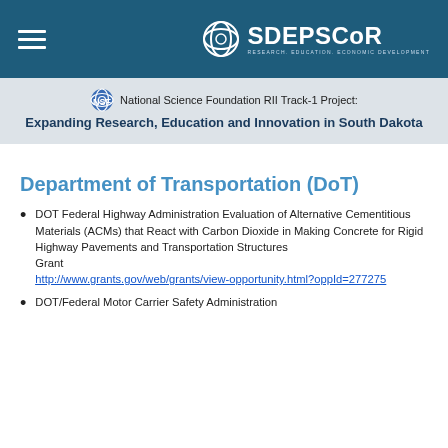SD EPSCoR — RESEARCH. EDUCATION. ECONOMIC DEVELOPMENT.
National Science Foundation RII Track-1 Project: Expanding Research, Education and Innovation in South Dakota
Department of Transportation (DoT)
DOT Federal Highway Administration Evaluation of Alternative Cementitious Materials (ACMs) that React with Carbon Dioxide in Making Concrete for Rigid Highway Pavements and Transportation Structures
Grant
http://www.grants.gov/web/grants/view-opportunity.html?oppId=277275
DOT/Federal Motor Carrier Safety Administration